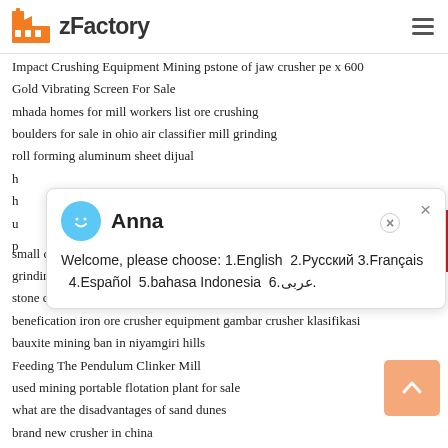zFactory
Impact Crushing Equipment Mining pstone of jaw crusher pe x 600
Gold Vibrating Screen For Sale
mhada homes for mill workers list ore crushing
boulders for sale in ohio air classifier mill grinding
roll forming aluminum sheet dijual
h
h
u
p
[Figure (screenshot): Chat popup dialog with Anna avatar and multilingual welcome message: 'Welcome, please choose: 1.English 2.Русский 3.Français 4.Español 5.bahasa Indonesia 6.عربی.']
small cement production plant for sale
grinding machines for home use
stone crusher in haldwani binq mining
benefication iron ore crusher equipment gambar crusher klasifikasi
bauxite mining ban in niyamgiri hills
Feeding The Pendulum Clinker Mill
used mining portable flotation plant for sale
what are the disadvantages of sand dunes
brand new crusher in china